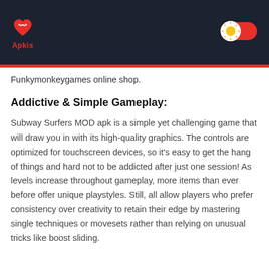Apkis [logo] [toggle button]
Funkymonkeygames online shop.
Addictive & Simple Gameplay:
Subway Surfers MOD apk is a simple yet challenging game that will draw you in with its high-quality graphics. The controls are optimized for touchscreen devices, so it's easy to get the hang of things and hard not to be addicted after just one session! As levels increase throughout gameplay, more items than ever before offer unique playstyles. Still, all allow players who prefer consistency over creativity to retain their edge by mastering single techniques or movesets rather than relying on unusual tricks like boost sliding.